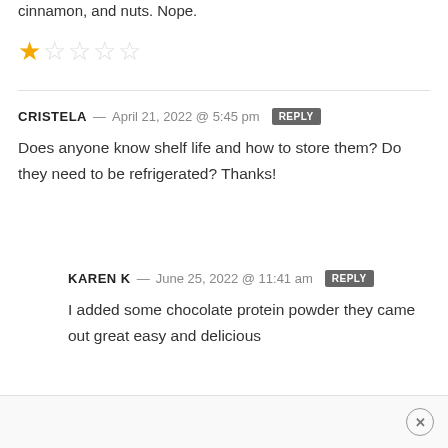cinnamon, and nuts. Nope.
[Figure (other): Star rating: 1 out of 5 stars (one filled gold star, four empty stars)]
CRISTELA — April 21, 2022 @ 5:45 pm REPLY
Does anyone know shelf life and how to store them? Do they need to be refrigerated? Thanks!
KAREN K — June 25, 2022 @ 11:41 am REPLY
I added some chocolate protein powder they came out great easy and delicious